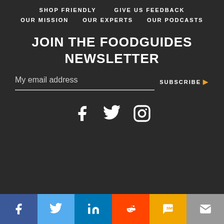SHOP FRIENDLY   GIVE US FEEDBACK
OUR MISSION   OUR EXPERTS   OUR PODCASTS
JOIN THE FOODGUIDES NEWSLETTER
My email address
SUBSCRIBE
[Figure (other): Social media icons: Facebook, Twitter, Instagram]
[Figure (other): Share bar with icons: Facebook, Twitter, LinkedIn, Reddit, SMS, Email]